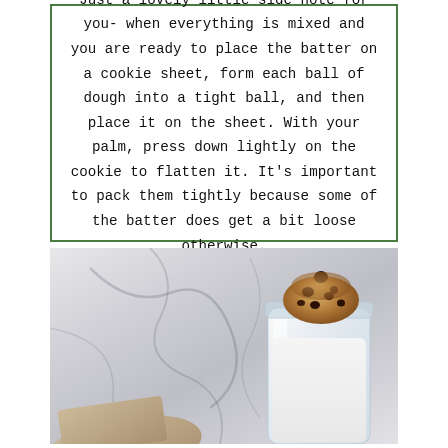Just a lovely little side note for you- when everything is mixed and you are ready to place the batter on a cookie sheet, form each ball of dough into a tight ball, and then place it on the sheet. With your palm, press down lightly on the cookie to flatten it. It's important to pack them tightly because some of the batter does get a bit loose otherwise.
[Figure (photo): A cookie resting on top of a glass jar filled with white milk, with a folded linen cloth nearby, set against a marble background.]